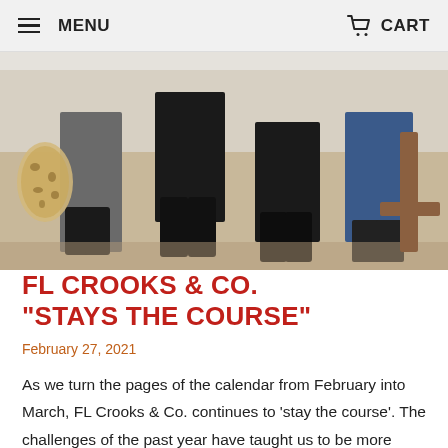MENU   CART
[Figure (photo): Photo showing people's legs and feet standing on a carpeted floor, wearing boots and dark pants; a leopard-print bag is visible on the left side.]
FL CROOKS & CO. "STAYS THE COURSE"
February 27, 2021
As we turn the pages of the calendar from February into March, FL Crooks & Co. continues to ‘stay the course’. The challenges of the past year have taught us to be more grateful than ever for our